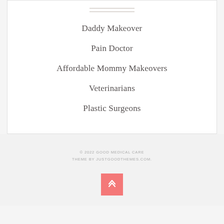Daddy Makeover
Pain Doctor
Affordable Mommy Makeovers
Veterinarians
Plastic Surgeons
© 2022 GOOD MEDICAL CARE THEME BY JUSTGOODTHEMES.COM.